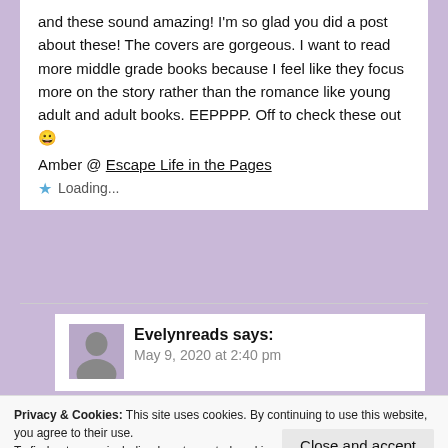and these sound amazing! I'm so glad you did a post about these! The covers are gorgeous. I want to read more middle grade books because I feel like they focus more on the story rather than the romance like young adult and adult books. EEPPPP. Off to check these out 😀
Amber @ Escape Life in the Pages
Loading...
Evelynreads says: May 9, 2020 at 2:40 pm
Privacy & Cookies: This site uses cookies. By continuing to use this website, you agree to their use.
To find out more, including how to control cookies, see here: Cookie Policy
Close and accept